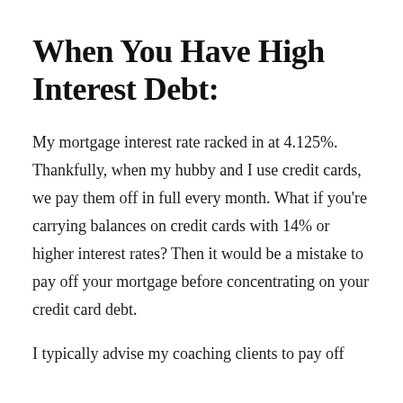When You Have High Interest Debt:
My mortgage interest rate racked in at 4.125%. Thankfully, when my hubby and I use credit cards, we pay them off in full every month. What if you're carrying balances on credit cards with 14% or higher interest rates? Then it would be a mistake to pay off your mortgage before concentrating on your credit card debt.
I typically advise my coaching clients to pay off